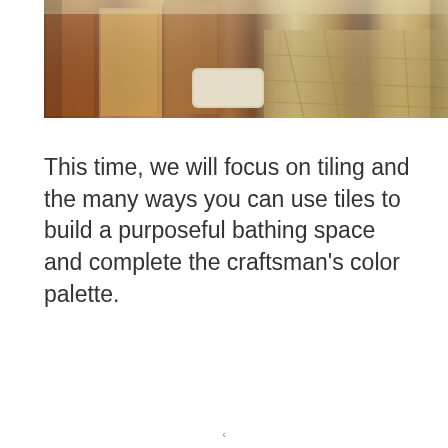[Figure (photo): Photograph of a craftsman-style bathroom interior showing wooden cabinetry with warm brown tones, stone tile flooring, a white bath mat, and vanity area.]
This time, we will focus on tiling and the many ways you can use tiles to build a purposeful bathing space and complete the craftsman's color palette.